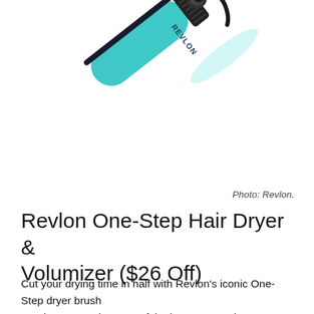[Figure (photo): Partial view of a teal/mint Revlon hair dryer brush handle with black accents and cord, photographed diagonally against white background]
Photo: Revlon.
Revlon One-Step Hair Dryer & Volumizer ($26 Off)
Cut your drying time in half with Revlon's iconic One-Step dryer brush. It's been touted as one of the best Dyson Airwrap dupes and we can totally see why. It dries your hair so quickly, doesn't damage your strands and reduces frizz. Grab yours in the Mint